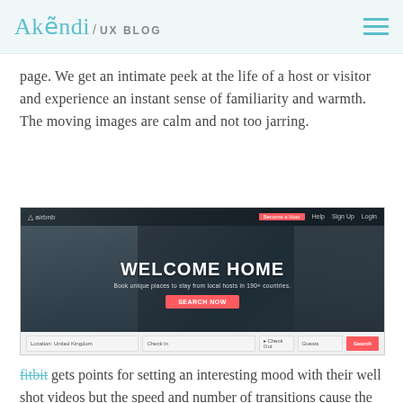Akendi / UX BLOG
page. We get an intimate peek at the life of a host or visitor and experience an instant sense of familiarity and warmth. The moving images are calm and not too jarring.
[Figure (screenshot): Screenshot of the Airbnb homepage showing a dark, moody bedroom background with the text 'WELCOME HOME' in large white letters, a subtitle tagline, a red CTA button, and a search bar at the bottom with location, check-in, check-out, and guests fields.]
fitbit gets points for setting an interesting mood with their well shot videos but the speed and number of transitions cause the video to be more